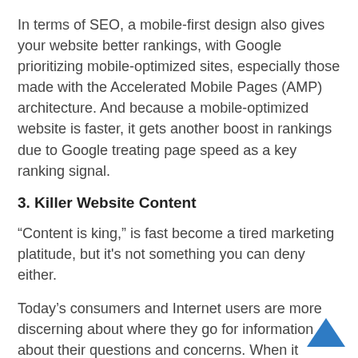In terms of SEO, a mobile-first design also gives your website better rankings, with Google prioritizing mobile-optimized sites, especially those made with the Accelerated Mobile Pages (AMP) architecture. And because a mobile-optimized website is faster, it gets another boost in rankings due to Google treating page speed as a key ranking signal.
3. Killer Website Content
“Content is king,” is fast become a tired marketing platitude, but it's not something you can deny either.
Today’s consumers and Internet users are more discerning about where they go for information about their questions and concerns. When it comes to brands, they don't just look for a company that can sell them product X, they also want to be educated and build a relationship with them.
This is where a content strategy comes in. Content is what draws in your law firm's target audience, educates them, nurtures them into becoming leads, and ultimately, converts them into customers/clients. It unifies your
[Figure (other): Blue upward-pointing chevron/arrow scroll-to-top button in the bottom right corner]